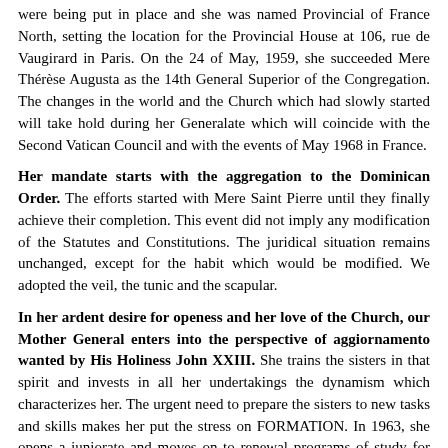were being put in place and she was named Provincial of France North, setting the location for the Provincial House at 106, rue de Vaugirard in Paris. On the 24 of May, 1959, she succeeded Mere Thérèse Augusta as the 14th General Superior of the Congregation. The changes in the world and the Church which had slowly started will take hold during her Generalate which will coincide with the Second Vatican Council and with the events of May 1968 in France.
Her mandate starts with the aggregation to the Dominican Order. The efforts started with Mere Saint Pierre until they finally achieve their completion. This event did not imply any modification of the Statutes and Constitutions. The juridical situation remains unchanged, except for the habit which would be modified. We adopted the veil, the tunic and the scapular.
In her ardent desire for openess and her love of the Church, our Mother General enters into the perspective of aggiornamento wanted by His Holiness John XXIII. She trains the sisters in that spirit and invests in all her undertakings the dynamism which characterizes her. The urgent need to prepare the sisters to new tasks and skills makes her put the stress on FORMATION. In 1963, she opens a juniorate and moves on to renewal programs of study for the novitiate (theology, Bible, spirituality, anthropology, métaphysics etc.) The time of formation is lengthened introducing stages of initiation for the postulants and the novices. Formators follow the courses of "Forma Grégis" and a great number of sisters are engaged in studies, be these theological, biblical, professional